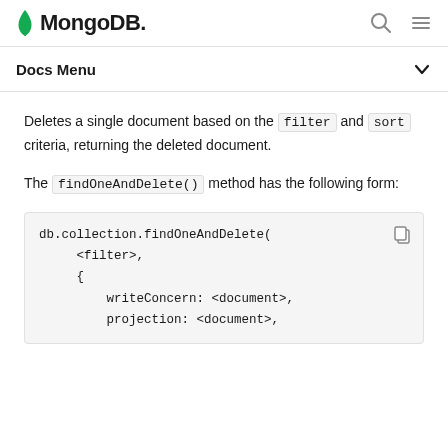MongoDB
Docs Menu
Deletes a single document based on the filter and sort criteria, returning the deleted document.
The findOneAndDelete() method has the following form:
db.collection.findOneAndDelete(
     <filter>,
     {
         writeConcern: <document>,
         projection: <document>,